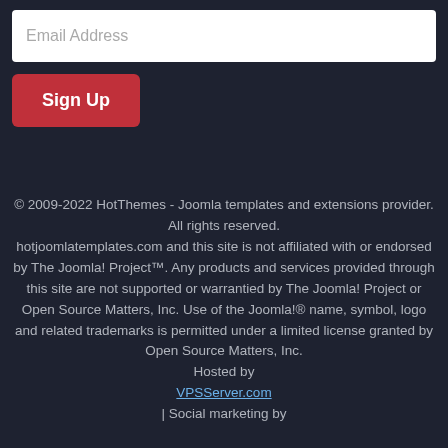[Figure (other): Email address input field (white rounded rectangle with placeholder text 'Email Address')]
[Figure (other): Red 'Sign Up' button]
© 2009-2022 HotThemes - Joomla templates and extensions provider. All rights reserved. hotjoomlatemplates.com and this site is not affiliated with or endorsed by The Joomla! Project™. Any products and services provided through this site are not supported or warrantied by The Joomla! Project or Open Source Matters, Inc. Use of the Joomla!® name, symbol, logo and related trademarks is permitted under a limited license granted by Open Source Matters, Inc. Hosted by VPSServer.com | Social marketing by